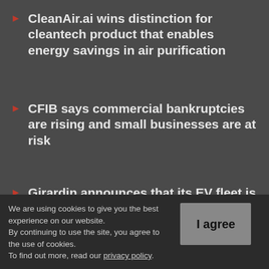CleanAir.ai wins distinction for cleantech product that enables energy savings in air purification
CFIB says commercial bankruptcies are rising and small businesses are at risk
Girardin announces that its EV fleet is eligible for the federal iMHZEV incentive
[Figure (screenshot): Partial view of a Canadian publication banner at the bottom of the page background]
We are using cookies to give you the best experience on our website.
By continuing to use the site, you agree to the use of cookies.
To find out more, read our privacy policy.
I agree